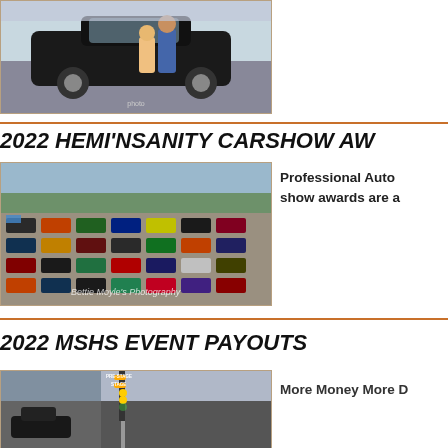[Figure (photo): Two people standing in front of a black muscle car (Dodge Challenger) in a parking lot]
2022 HEMI'NSANITY CARSHOW AW...
[Figure (photo): Aerial view of a large car show with many vehicles parked in a lot, with text overlay 'Bettie Moyle's Photography']
Professional Auto... show awards are a...
2022 MSHS EVENT PAYOUTS
[Figure (photo): Drag racing starting line with Christmas tree light system visible, PRE-STAGE and STAGE lights shown]
More Money More D...